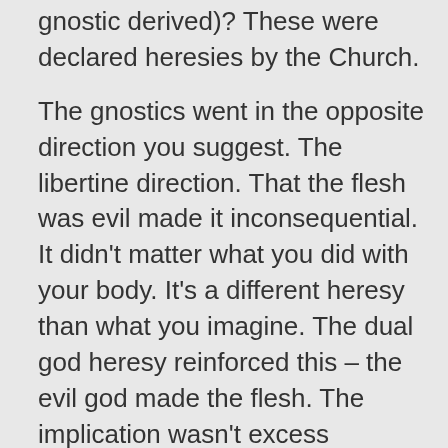gnostic derived)? These were declared heresies by the Church.
The gnostics went in the opposite direction you suggest. The libertine direction. That the flesh was evil made it inconsequential. It didn’t matter what you did with your body. It’s a different heresy than what you imagine. The dual god heresy reinforced this – the evil god made the flesh. The implication wasn’t excess mortification of the flesh, ascetism, etc. It was licentiousness.
★ Liked by 1 person